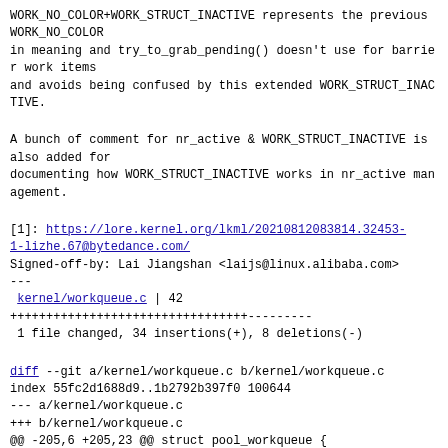WORK_NO_COLOR+WORK_STRUCT_INACTIVE represents the previous WORK_NO_COLOR
in meaning and try_to_grab_pending() doesn't use for barrier work items
and avoids being confused by this extended WORK_STRUCT_INACTIVE.
A bunch of comment for nr_active & WORK_STRUCT_INACTIVE is also added for
documenting how WORK_STRUCT_INACTIVE works in nr_active management.
[1]: https://lore.kernel.org/lkml/20210812083814.32453-1-lizhe.67@bytedance.com/
Signed-off-by: Lai Jiangshan <laijs@linux.alibaba.com>
---
 kernel/workqueue.c | 42
+++++++++++++++++++++++++++++++++---------
 1 file changed, 34 insertions(+), 8 deletions(-)
diff --git a/kernel/workqueue.c b/kernel/workqueue.c
index 55fc2d1688d9..1b2792b397f0 100644
--- a/kernel/workqueue.c
+++ b/kernel/workqueue.c
@@ -205,6 +205,23 @@ struct pool_workqueue {
        int                     refcnt;         /* L: reference count */
        int
nr_in_flight[WORK_NR_COLORS];
                                              /* L: